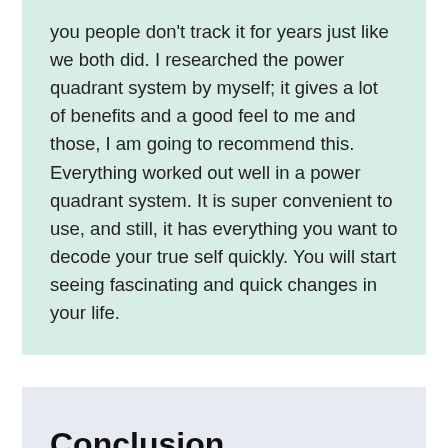you people don't track it for years just like we both did. I researched the power quadrant system by myself; it gives a lot of benefits and a good feel to me and those, I am going to recommend this. Everything worked out well in a power quadrant system. It is super convenient to use, and still, it has everything you want to decode your true self quickly. You will start seeing fascinating and quick changes in your life.
Conclusion